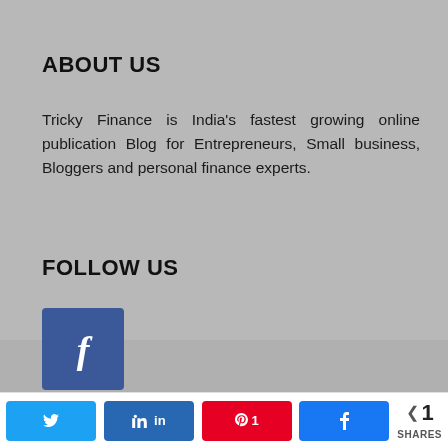ABOUT US
Tricky Finance is India's fastest growing online publication Blog for Entrepreneurs, Small business, Bloggers and personal finance experts.
FOLLOW US
[Figure (logo): Facebook logo button — dark blue square with white italic f letter]
GET UPDATES
Subscribe to our newsletter to receive recent news by email
Twitter share button | LinkedIn share button | Pinterest share button with count 1 | Facebook share button | Share icon with 1 SHARES